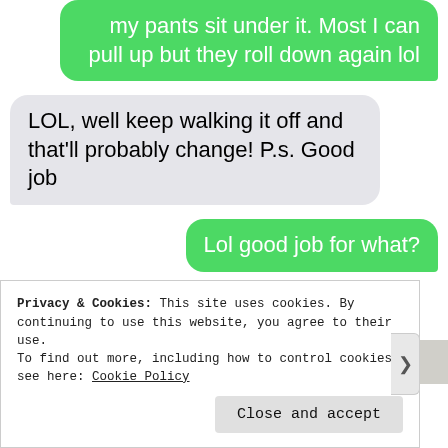my pants sit under it. Most I can pull up but they roll down again lol
LOL, well keep walking it off and that'll probably change! P.s. Good job
Lol good job for what?
All the walking
Privacy & Cookies: This site uses cookies. By continuing to use this website, you agree to their use.
To find out more, including how to control cookies, see here: Cookie Policy
Close and accept